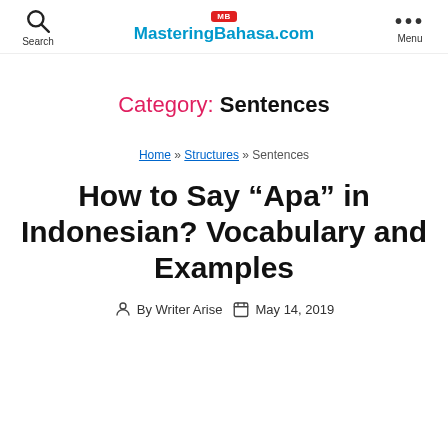MasteringBahasa.com
Category: Sentences
Home » Structures » Sentences
How to Say “Apa” in Indonesian? Vocabulary and Examples
By Writer Arise  May 14, 2019